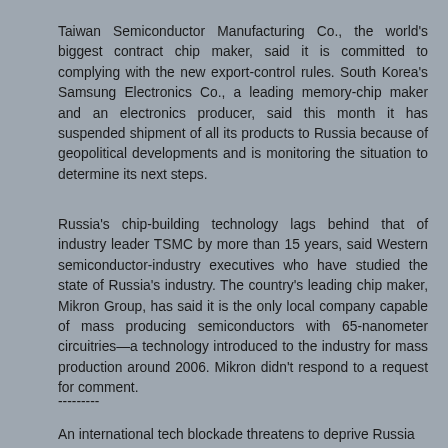Taiwan Semiconductor Manufacturing Co., the world's biggest contract chip maker, said it is committed to complying with the new export-control rules. South Korea's Samsung Electronics Co., a leading memory-chip maker and an electronics producer, said this month it has suspended shipment of all its products to Russia because of geopolitical developments and is monitoring the situation to determine its next steps.
Russia's chip-building technology lags behind that of industry leader TSMC by more than 15 years, said Western semiconductor-industry executives who have studied the state of Russia's industry. The country's leading chip maker, Mikron Group, has said it is the only local company capable of mass producing semiconductors with 65-nanometer circuitries—a technology introduced to the industry for mass production around 2006. Mikron didn't respond to a request for comment.
---------
An international tech blockade threatens to deprive Russia